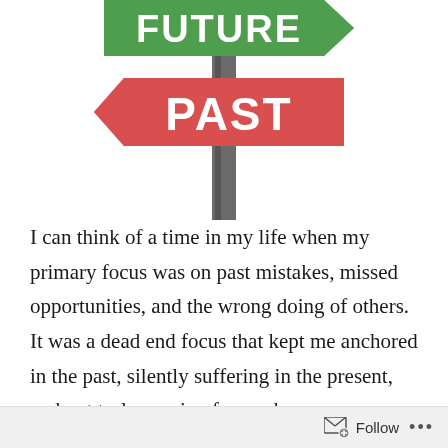[Figure (illustration): A road sign post illustration showing two directional arrow signs: a green sign pointing right labeled FUTURE (partially cropped at top) and a red/salmon arrow sign pointing left labeled PAST, mounted on a gray pole.]
I can think of a time in my life when my primary focus was on past mistakes, missed opportunities, and the wrong doing of others. It was a dead end focus that kept me anchored in the past, silently suffering in the present, and not truly moving forward
Follow ...